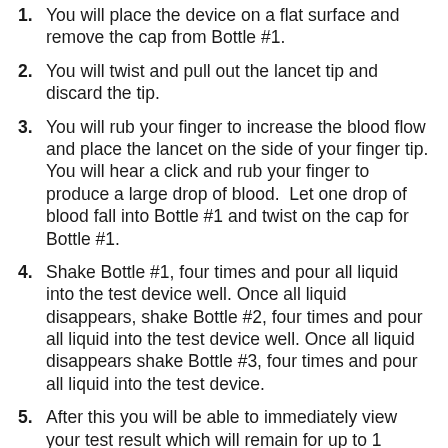1. You will place the device on a flat surface and remove the cap from Bottle #1.
2. You will twist and pull out the lancet tip and discard the tip.
3. You will rub your finger to increase the blood flow and place the lancet on the side of your finger tip. You will hear a click and rub your finger to produce a large drop of blood.  Let one drop of blood fall into Bottle #1 and twist on the cap for Bottle #1.
4. Shake Bottle #1, four times and pour all liquid into the test device well. Once all liquid disappears, shake Bottle #2, four times and pour all liquid into the test device well. Once all liquid disappears shake Bottle #3, four times and pour all liquid into the test device.
5. After this you will be able to immediately view your test result which will remain for up to 1